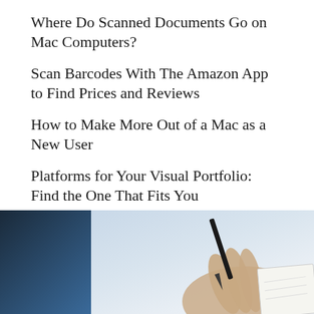Where Do Scanned Documents Go on Mac Computers?
Scan Barcodes With The Amazon App to Find Prices and Reviews
How to Make More Out of a Mac as a New User
Platforms for Your Visual Portfolio: Find the One That Fits You
What is the importance of facebook messenger full screen
[Figure (photo): A person writing on paper with a pen, showing a dark device on the left and a light background.]